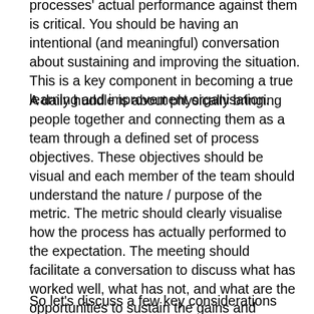processes' actual performance against them is critical. You should be having an intentional (and meaningful) conversation about sustaining and improving the situation. This is a key component in becoming a true learning and improvement organisation.
A daily huddle is about physically bringing people together and connecting them as a team through a defined set of process objectives. These objectives should be visual and each member of the team should understand the nature / purpose of the metric. The metric should clearly visualise how the process has actually performed to the expectation. The meeting should facilitate a conversation to discuss what has worked well, what has not, and what are the opportunities to sustain the gains and correct the deviations.
So let's discuss a few key considerations that will